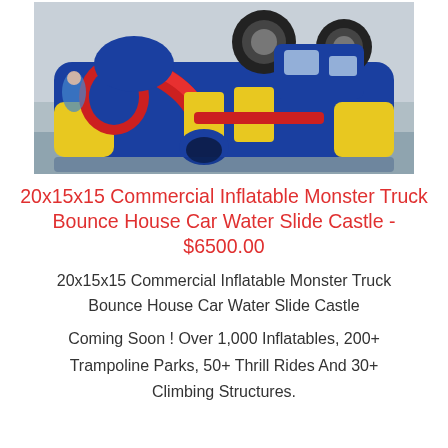[Figure (photo): Photo of a large colorful commercial inflatable monster truck bounce house with water slide castle, featuring blue, red, and yellow colors, with large truck tires on top, set up in an indoor facility.]
20x15x15 Commercial Inflatable Monster Truck Bounce House Car Water Slide Castle - $6500.00
20x15x15 Commercial Inflatable Monster Truck Bounce House Car Water Slide Castle
Coming Soon ! Over 1,000 Inflatables, 200+ Trampoline Parks, 50+ Thrill Rides And 30+ Climbing Structures.